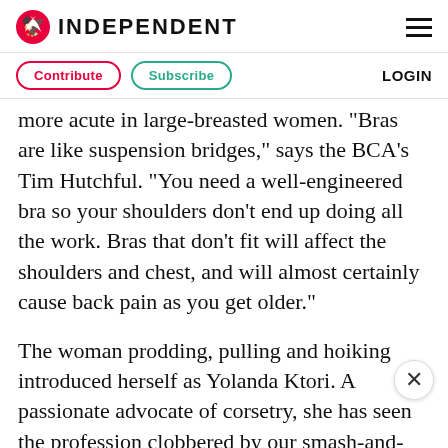INDEPENDENT
Contribute   Subscribe   LOGIN
more acute in large-breasted women. "Bras are like suspension bridges," says the BCA's Tim Hutchful. "You need a well-engineered bra so your shoulders don't end up doing all the work. Bras that don't fit will affect the shoulders and chest, and will almost certainly cause back pain as you get older."
The woman prodding, pulling and hoiking introduced herself as Yolanda Ktori. A passionate advocate of corsetry, she has seen the profession clobbered by our smash-and-